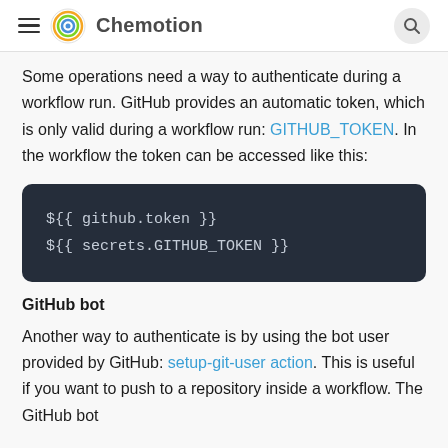Chemotion
Some operations need a way to authenticate during a workflow run. GitHub provides an automatic token, which is only valid during a workflow run: GITHUB_TOKEN. In the workflow the token can be accessed like this:
[Figure (screenshot): Code block showing: ${{ github.token }} and ${{ secrets.GITHUB_TOKEN }}]
GitHub bot
Another way to authenticate is by using the bot user provided by GitHub: setup-git-user action. This is useful if you want to push to a repository inside a workflow. The GitHub bot